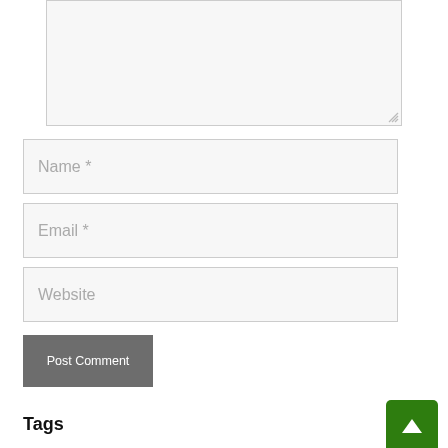[Figure (screenshot): Textarea input box (comment field) with resize handle at bottom right, partially shown at top of page]
Name *
Email *
Website
Post Comment
Tags
[Figure (other): Green square scroll-to-top button with upward chevron arrow]